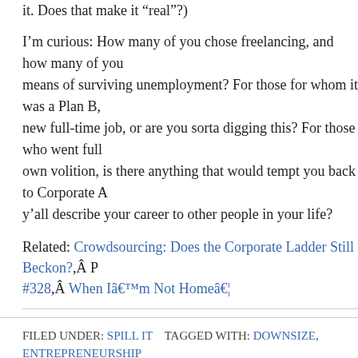it. Does that make it “real“?)
I’m curious: How many of you chose freelancing, and how many of you found it a means of surviving unemployment? For those for whom it was a Plan B, are you still seeking a new full-time job, or are you sorta digging this? For those who went full freelance on their own volition, is there anything that would tempt you back to Corporate America? And how do y’all describe your career to other people in your life?
Related: Crowdsourcing: Does the Corporate Ladder Still Beckon?,Â P #328,Â When Iâ€™m Not Homeâ€¦
FILED UNDER: SPILL IT    TAGGED WITH: DOWNSIZE, ENTREPRENEURSHIP, UNEMPLOYMENT
Comments
Ana says:
July 20, 2011 at 11:25 am
I’m just starting to freelance write part time while I hold on to my editor love to see if this takes me far enough to be able to do it full time!